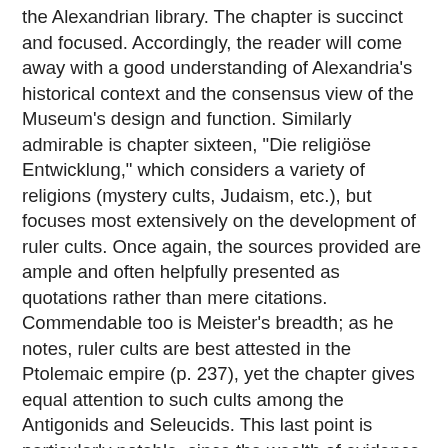the Alexandrian library. The chapter is succinct and focused. Accordingly, the reader will come away with a good understanding of Alexandria's historical context and the consensus view of the Museum's design and function. Similarly admirable is chapter sixteen, "Die religiöse Entwicklung," which considers a variety of religions (mystery cults, Judaism, etc.), but focuses most extensively on the development of ruler cults. Once again, the sources provided are ample and often helpfully presented as quotations rather than mere citations. Commendable too is Meister's breadth; as he notes, ruler cults are best attested in the Ptolemaic empire (p. 237), yet the chapter gives equal attention to such cults among the Antigonids and Seleucids. This last point is particularly notable, since the wealth of evidence from Egypt could easily pull any discussion toward the Ptolemaic empire specifically rather than the broader Hellenistic world.
Most chapters (Chapters 4–14) are devoted to artistic or scientific disciplines, all of which provide valuable descriptions of subject's major figures and the salient points of their contributions. Chapter 4, "Die Bildenden Künste" is particularly engaging. Following a summary of the characteristics of the plastic arts in the Hellenistic period